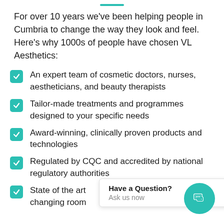For over 10 years we've been helping people in Cumbria to change the way they look and feel. Here's why 1000s of people have chosen VL Aesthetics:
An expert team of cosmetic doctors, nurses, aestheticians, and beauty therapists
Tailor-made treatments and programmes designed to your specific needs
Award-winning, clinically proven products and technologies
Regulated by CQC and accredited by national regulatory authorities
State of the art … changing room … sp…